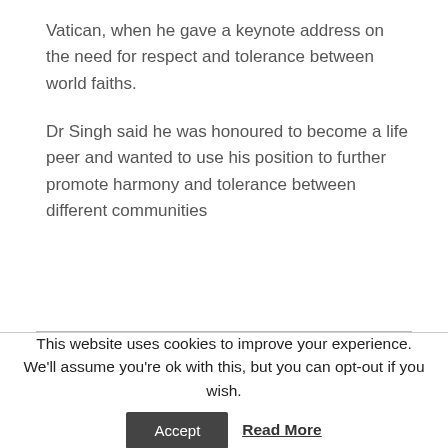Vatican, when he gave a keynote address on the need for respect and tolerance between world faiths.
Dr Singh said he was honoured to become a life peer and wanted to use his position to further promote harmony and tolerance between different communities
This website uses cookies to improve your experience. We'll assume you're ok with this, but you can opt-out if you wish.